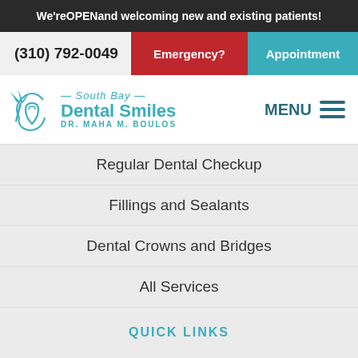We're OPEN and welcoming new and existing patients!
(310) 792-0049
Emergency?
Appointment
[Figure (logo): South Bay Dental Smiles logo with palm tree and tooth icon]
MENU
Regular Dental Checkup
Fillings and Sealants
Dental Crowns and Bridges
All Services
QUICK LINKS
About
Contact
PATIENT RESOURCES
Schedule Appointment
New Patient Resources